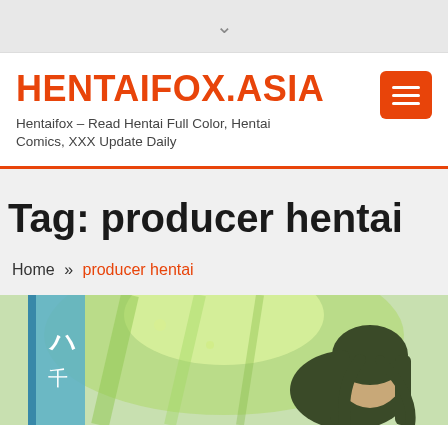▾
HENTAIFOX.ASIA
Hentaifox – Read Hentai Full Color, Hentai Comics, XXX Update Daily
Tag: producer hentai
Home » producer hentai
[Figure (illustration): Anime/manga style illustration showing a female character with long dark green hair against a bright green background with Japanese text]